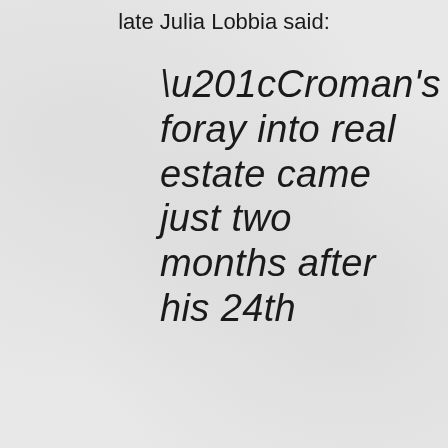late Julia Lobbia said:
“Croman’s foray into real estate came just two months after his 24th